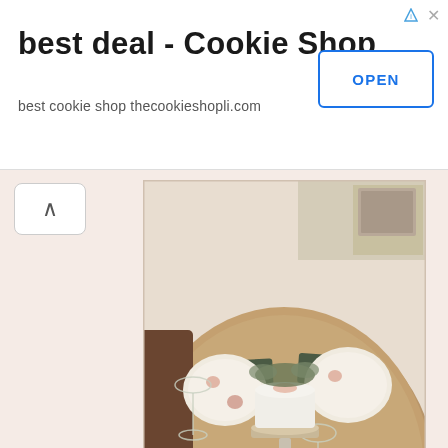[Figure (screenshot): Ad banner for 'best deal - Cookie Shop' with an OPEN button and subtitle 'best cookie shop thecookieshopli.com']
[Figure (photo): A dining table set for a party with floral plates, wine glasses, dark green napkins, silverware, and a white cake on a cake stand as a centerpiece, on a brown tablecloth]
Frugality doesn't always mean doing things the hard way. Sometimes, it just means doing things the smart and thoughtful way.
Lili Mounce at 2:00 AM